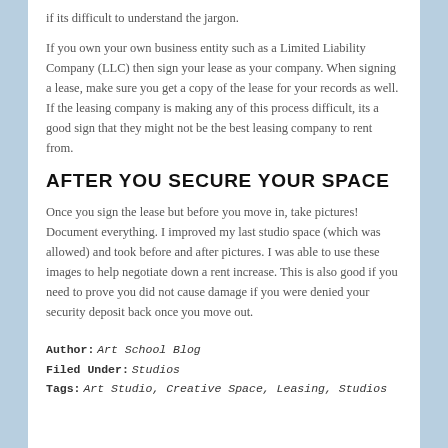if its difficult to understand the jargon.
If you own your own business entity such as a Limited Liability Company (LLC) then sign your lease as your company. When signing a lease, make sure you get a copy of the lease for your records as well. If the leasing company is making any of this process difficult, its a good sign that they might not be the best leasing company to rent from.
AFTER YOU SECURE YOUR SPACE
Once you sign the lease but before you move in, take pictures! Document everything. I improved my last studio space (which was allowed) and took before and after pictures. I was able to use these images to help negotiate down a rent increase. This is also good if you need to prove you did not cause damage if you were denied your security deposit back once you move out.
Author: Art School Blog
Filed Under: Studios
Tags: Art Studio, Creative Space, Leasing, Studios